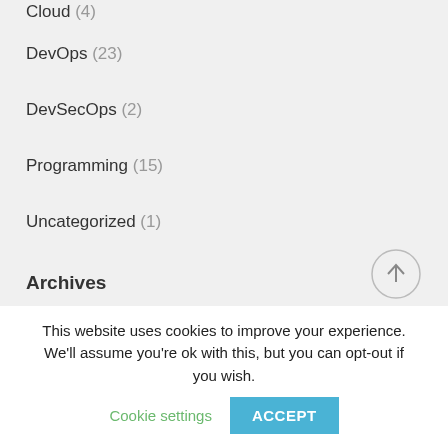Cloud  (4)
DevOps  (23)
DevSecOps  (2)
Programming  (15)
Uncategorized  (1)
Archives
February 2021
January 2021
December 2020
November 2020
This website uses cookies to improve your experience. We'll assume you're ok with this, but you can opt-out if you wish.  Cookie settings  ACCEPT